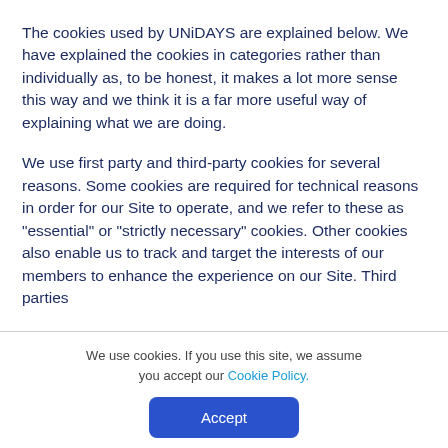The cookies used by UNiDAYS are explained below. We have explained the cookies in categories rather than individually as, to be honest, it makes a lot more sense this way and we think it is a far more useful way of explaining what we are doing.
We use first party and third-party cookies for several reasons. Some cookies are required for technical reasons in order for our Site to operate, and we refer to these as "essential" or "strictly necessary" cookies. Other cookies also enable us to track and target the interests of our members to enhance the experience on our Site. Third parties
We use cookies. If you use this site, we assume you accept our Cookie Policy.